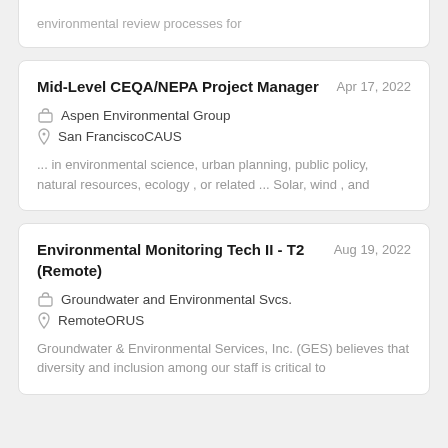environmental review processes for
Mid-Level CEQA/NEPA Project Manager
Apr 17, 2022
Aspen Environmental Group
San FranciscoCAUS
... in environmental science, urban planning, public policy, natural resources, ecology , or related ... Solar, wind , and
Environmental Monitoring Tech II - T2 (Remote)
Aug 19, 2022
Groundwater and Environmental Svcs.
RemoteORUS
Groundwater & Environmental Services, Inc. (GES) believes that diversity and inclusion among our staff is critical to